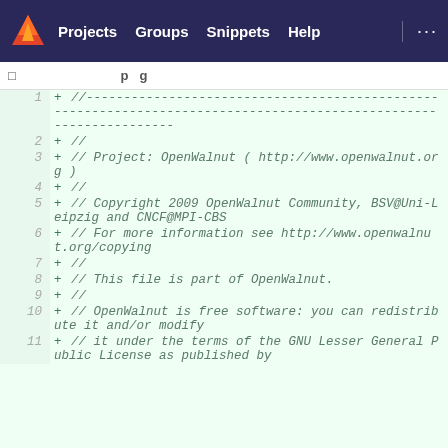Projects  Groups  Snippets  Help  ...
[ ... p g ...
1  + //------------------------------------------------------------------------------------------------------------------
2  + //
3  + // Project: OpenWalnut ( http://www.openwalnut.org )
4  + //
5  + // Copyright 2009 OpenWalnut Community, BSV@Uni-Leipzig and CNCF@MPI-CBS
6  + // For more information see http://www.openwalnut.org/copying
7  + //
8  + // This file is part of OpenWalnut.
9  + //
10 + // OpenWalnut is free software: you can redistribute it and/or modify
11 + // it under the terms of the GNU Lesser General Public License as
   published by